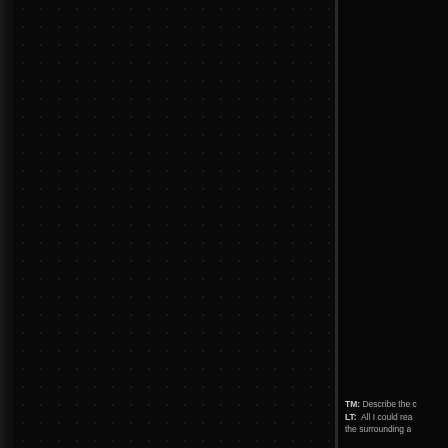[Figure (photo): Dark background image with dot/noise texture pattern on the left panel, separated by a vertical divider from a darker right panel. Mostly black/very dark page, possibly a scanned dark page or UI screenshot.]
TM: Describe the c
LT:  All I could rea
the surrounding a